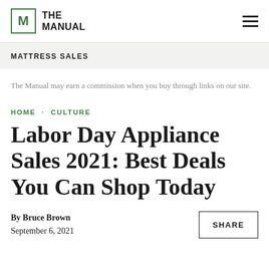THE MANUAL
MATTRESS SALES
The Manual may earn a commission when you buy through links on our site.
HOME · CULTURE
Labor Day Appliance Sales 2021: Best Deals You Can Shop Today
By Bruce Brown
September 6, 2021